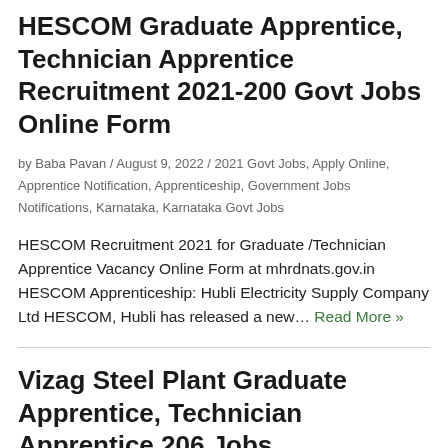HESCOM Graduate Apprentice, Technician Apprentice Recruitment 2021-200 Govt Jobs Online Form
by Baba Pavan / August 9, 2022 / 2021 Govt Jobs, Apply Online, Apprentice Notification, Apprenticeship, Government Jobs Notifications, Karnataka, Karnataka Govt Jobs
HESCOM Recruitment 2021 for Graduate /Technician Apprentice Vacancy Online Form at mhrdnats.gov.in HESCOM Apprenticeship: Hubli Electricity Supply Company Ltd HESCOM, Hubli has released a new… Read More »
Vizag Steel Plant Graduate Apprentice, Technician Apprentice 206 Jobs